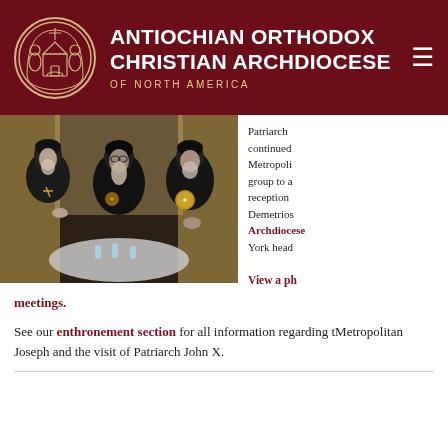Antiochian Orthodox Christian Archdiocese Of North America
[Figure (photo): Three Orthodox clergy in black vestments with gold pectoral crosses conversing around a table at a reception, with draped curtains in the background.]
Patriarch continued Metropolitan group to a reception Demetrios Archdiocese York head
View a ph meetings.
See our enthronement section for all information regarding Metropolitan Joseph and the visit of Patriarch John X.